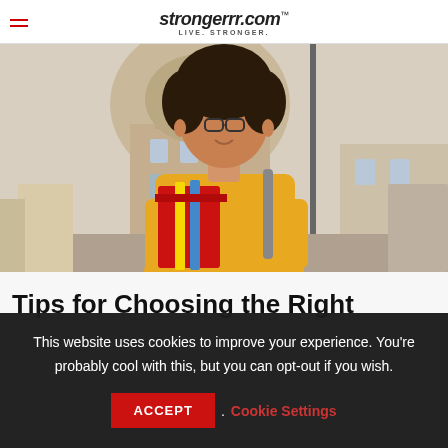strongerrr.com™ LIVE. STRONGER.
[Figure (photo): Young woman with curly hair and glasses holding red books and notebooks, wearing a yellow hoodie, standing outdoors in front of a historic building]
Tips for Choosing the Right
This website uses cookies to improve your experience. You're probably cool with this, but you can opt-out if you wish.
ACCEPT . Cookie Settings